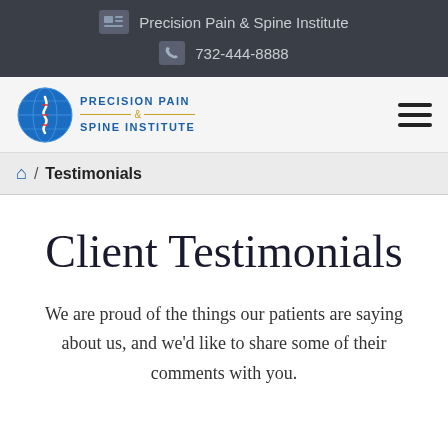Precision Pain & Spine Institute | 732-444-8888
[Figure (logo): Precision Pain & Spine Institute logo with blue globe and spine icon]
🏠 / Testimonials
Client Testimonials
We are proud of the things our patients are saying about us, and we'd like to share some of their comments with you.